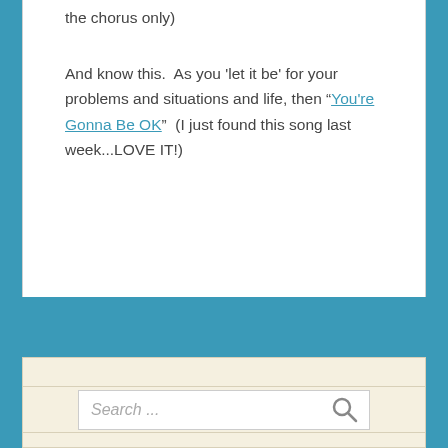the chorus only)
And know this.  As you 'let it be' for your problems and situations and life, then "You're Gonna Be OK"  (I just found this song last week...LOVE IT!)
[Figure (screenshot): Search widget with text input field showing 'Search ...' placeholder and a magnifying glass icon, on a pale yellow/cream background with horizontal ruled lines]